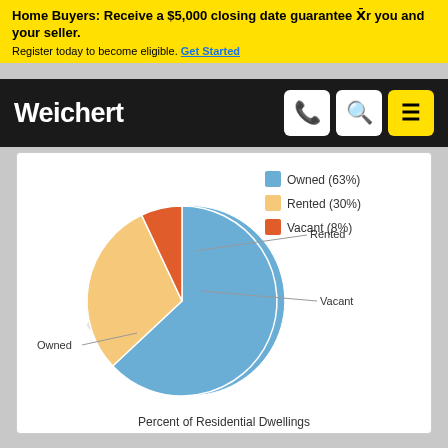Home Buyers: Receive a $5,000 closing date guarantee Xr you and your seller. Register today to become eligible. Get Started
[Figure (logo): Weichert logo on black navbar with phone, search, and menu icons]
[Figure (pie-chart): Percent of Residential Dwellings]